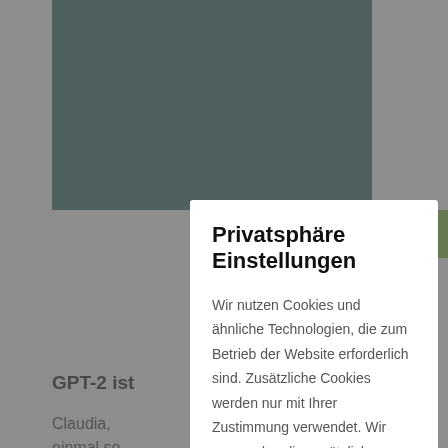[Figure (screenshot): Background webpage with dark teal image block at top, green 'erlesen +' button, partial article title 'GPT-2 ist...' and partial article text 'Claudia, ... ter einmal se...']
Privatsphäre Einstellungen
Wir nutzen Cookies und ähnliche Technologien, die zum Betrieb der Website erforderlich sind. Zusätzliche Cookies werden nur mit Ihrer Zustimmung verwendet. Wir verwenden die zusätzlichen Cookies, um Analysen der Website-Nutzung durchzuführen und Marketingmaßnahmen auf ihre Effizienz zu prüfen. Diese Analysen